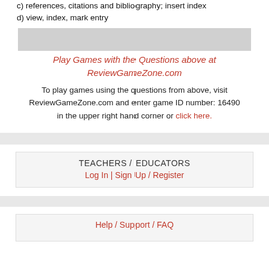c) references, citations and bibliography; insert index
d) view, index, mark entry
Play Games with the Questions above at ReviewGameZone.com
To play games using the questions from above, visit ReviewGameZone.com and enter game ID number: 16490 in the upper right hand corner or click here.
TEACHERS / EDUCATORS
Log In | Sign Up / Register
Help / Support / FAQ